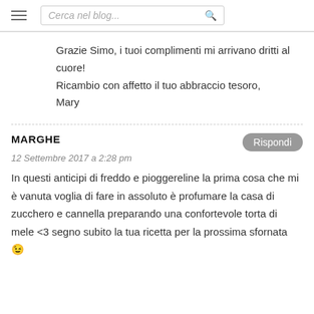Cerca nel blog...
Grazie Simo, i tuoi complimenti mi arrivano dritti al cuore!
Ricambio con affetto il tuo abbraccio tesoro,
Mary
MARGHE
12 Settembre 2017 a 2:28 pm
In questi anticipi di freddo e pioggereline la prima cosa che mi è vanuta voglia di fare in assoluto è profumare la casa di zucchero e cannella preparando una confortevole torta di mele <3 segno subito la tua ricetta per la prossima sfornata 😉